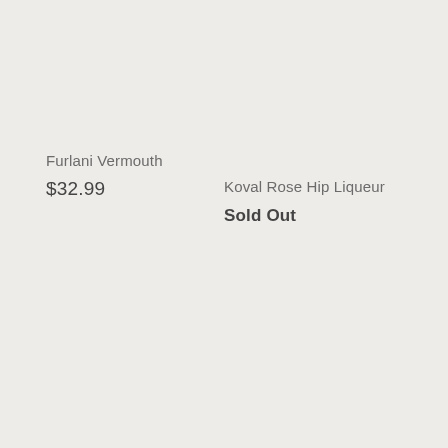Furlani Vermouth
$32.99
Koval Rose Hip Liqueur
Sold Out